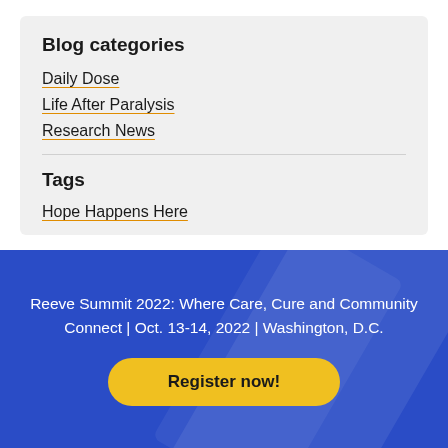Blog categories
Daily Dose
Life After Paralysis
Research News
Tags
Hope Happens Here
Reeve Summit 2022: Where Care, Cure and Community Connect | Oct. 13-14, 2022 | Washington, D.C.
Register now!